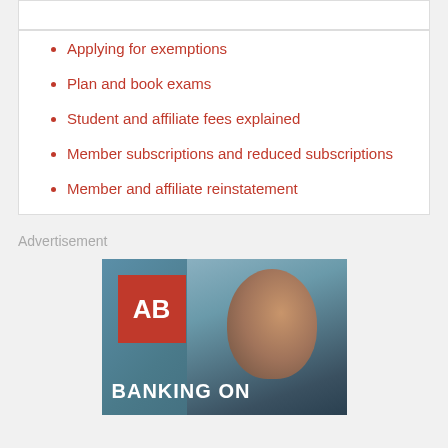Applying for exemptions
Plan and book exams
Student and affiliate fees explained
Member subscriptions and reduced subscriptions
Member and affiliate reinstatement
Advertisement
[Figure (photo): Advertisement banner with AB logo (red square with white AB letters) and a woman's photo with text 'BANKING ON' at the bottom]